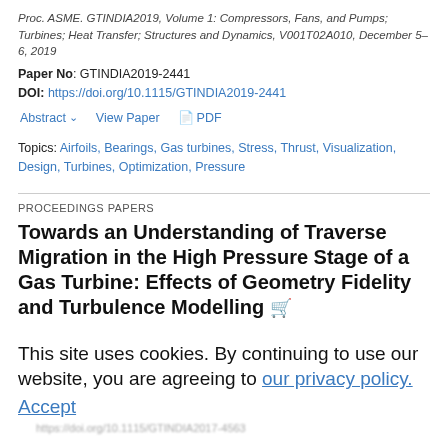Proc. ASME. GTINDIA2019, Volume 1: Compressors, Fans, and Pumps; Turbines; Heat Transfer; Structures and Dynamics, V001T02A010, December 5–6, 2019
Paper No: GTINDIA2019-2441
DOI: https://doi.org/10.1115/GTINDIA2019-2441
Abstract  View Paper  PDF
Topics: Airfoils, Bearings, Gas turbines, Stress, Thrust, Visualization, Design, Turbines, Optimization, Pressure
PROCEEDINGS PAPERS
Towards an Understanding of Traverse Migration in the High Pressure Stage of a Gas Turbine: Effects of Geometry Fidelity and Turbulence Modelling
Karthik Srinivasan, Simon Bather
Proc. ASME. GTINDIA2017, Volume 1: Compressors, Fans and Pumps; Turbines; Heat Transfer, Combustion, Fuels and Emissions
This site uses cookies. By continuing to use our website, you are agreeing to our privacy policy. Accept